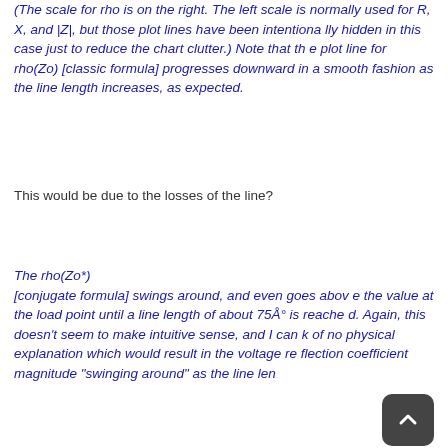(The scale for rho is on the right. The left scale is normally used for R, X, and |Z|, but those plot lines have been intentionally hidden in this case just to reduce the chart clutter.) Note that the plot line for rho(Zo) [classic formula] progresses downward in a smooth fashion as the line length increases, as expected.
This would be due to the losses of the line?
The rho(Zo*) [conjugate formula] swings around, and even goes above the value at the load point until a line length of about 75Å° is reached. Again, this doesn't seem to make intuitive sense, and I can think of no physical explanation which would result in the voltage reflection coefficient magnitude "swinging around" as the line len